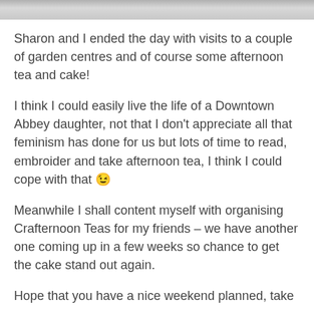[Figure (photo): Partial photo strip at top of page showing what appears to be a person or figures, cropped]
Sharon and I ended the day with visits to a couple of garden centres and of course some afternoon tea and cake!
I think I could easily live the life of a Downtown Abbey daughter, not that I don't appreciate all that feminism has done for us but lots of time to read, embroider and take afternoon tea, I think I could cope with that 😉
Meanwhile I shall content myself with organising Crafternoon Teas for my friends – we have another one coming up in a few weeks so chance to get the cake stand out again.
Hope that you have a nice weekend planned, take